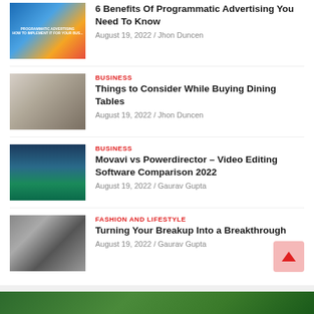[Figure (illustration): Thumbnail for programmatic advertising article showing laptop with charts and digital elements]
6 Benefits Of Programmatic Advertising You Need To Know
August 19, 2022 / Jhon Duncen
[Figure (photo): Thumbnail showing dining table and chairs in a room]
BUSINESS
Things to Consider While Buying Dining Tables
August 19, 2022 / Jhon Duncen
[Figure (screenshot): Thumbnail showing video editing software interface with dark background]
BUSINESS
Movavi vs Powerdirector – Video Editing Software Comparison 2022
August 19, 2022 / Gaurav Gupta
[Figure (photo): Thumbnail showing couple holding hands in black and white tones]
FASHION AND LIFESTYLE
Turning Your Breakup Into a Breakthrough
August 19, 2022 / Gaurav Gupta
You may Missed
[Figure (photo): Green foliage/plant image at bottom of page]